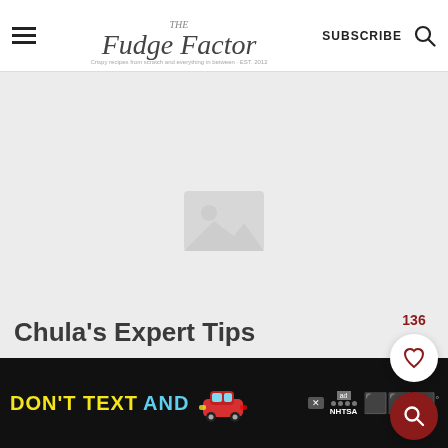The Fudge Factor | SUBSCRIBE
[Figure (photo): Large placeholder image area, light gray background with faint image icon in center]
Chula's Expert Tips
[Figure (infographic): Ad banner: DON'T TEXT AND [car emoji] with NHTSA and ad logos on dark background]